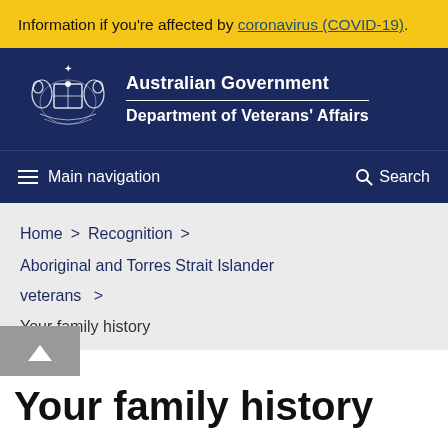Information if you're affected by coronavirus (COVID-19).
[Figure (logo): Australian Government coat of arms logo with kangaroo and emu]
Australian Government Department of Veterans' Affairs
Main navigation   Search
Home > Recognition > Aboriginal and Torres Strait Islander veterans > Your family history
Your family history